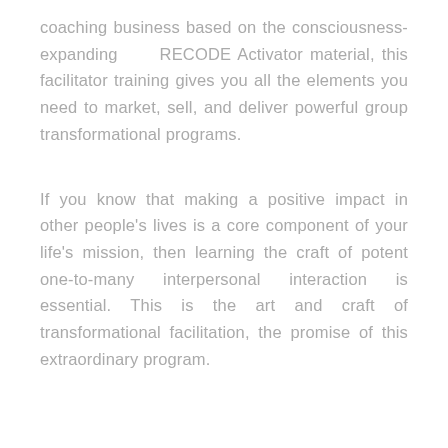coaching business based on the consciousness-expanding RECODE Activator material, this facilitator training gives you all the elements you need to market, sell, and deliver powerful group transformational programs.
If you know that making a positive impact in other people's lives is a core component of your life's mission, then learning the craft of potent one-to-many interpersonal interaction is essential. This is the art and craft of transformational facilitation, the promise of this extraordinary program.